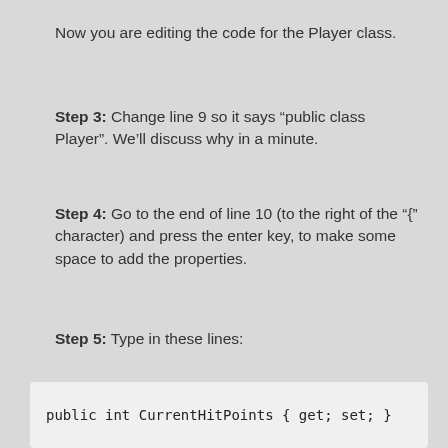Now you are editing the code for the Player class.
Step 3: Change line 9 so it says “public class Player”. We’ll discuss why in a minute.
Step 4: Go to the end of line 10 (to the right of the “{” character) and press the enter key, to make some space to add the properties.
Step 5: Type in these lines:
public int CurrentHitPoints { get; set; }